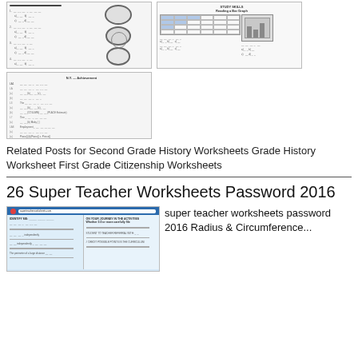[Figure (screenshot): Thumbnail of science worksheet with biological images (cells/organisms) and multiple choice questions arranged in two columns]
[Figure (screenshot): Thumbnail of a Study Skills worksheet about Reading a Bar Graph with a grid/chart and a book illustration]
[Figure (screenshot): Thumbnail of a multiple-choice answer key/test page with numbered questions and lettered answer choices]
Related Posts for Second Grade History Worksheets Grade History Worksheet First Grade Citizenship Worksheets
26 Super Teacher Worksheets Password 2016
[Figure (screenshot): Thumbnail of a Super Teacher Worksheets page shown in a browser, with two columns of worksheet content]
super teacher worksheets password 2016 Radius &amp; Circumference...